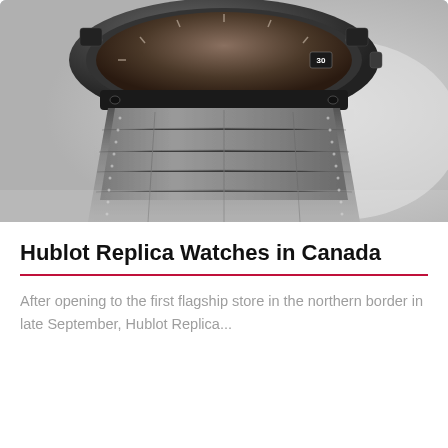[Figure (photo): Close-up photo of a luxury watch with a dark ceramic/matte black case, brown dial, and grey crocodile-pattern leather strap on a blurred light background]
Hublot Replica Watches in Canada
After opening to the first flagship store in the northern border in late September, Hublot Replica...